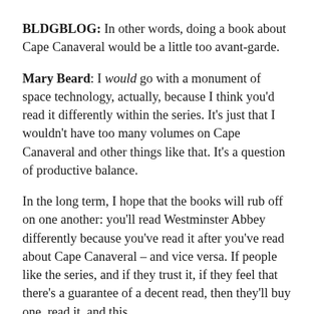BLDGBLOG: In other words, doing a book about Cape Canaveral would be a little too avant-garde.
Mary Beard: I would go with a monument of space technology, actually, because I think you'd read it differently within the series. It's just that I wouldn't have too many volumes on Cape Canaveral and other things like that. It's a question of productive balance.
In the long term, I hope that the books will rub off on one another: you'll read Westminster Abbey differently because you've read it after you've read about Cape Canaveral – and vice versa. If people like the series, and if they trust it, if they feel that there's a guarantee of a decent read, then they'll buy one, read it, and this